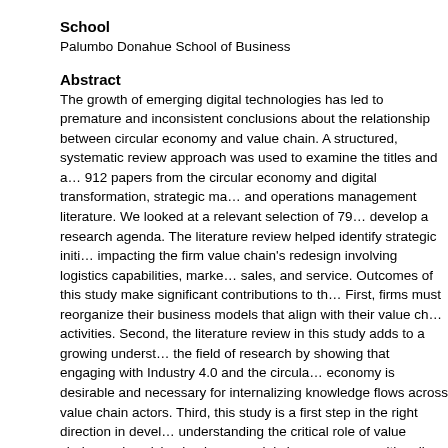School
Palumbo Donahue School of Business
Abstract
The growth of emerging digital technologies has led to premature and inconsistent conclusions about the relationship between circular economy and value chain. A structured, systematic review approach was used to examine the titles and abstracts of 912 papers from the circular economy and digital transformation, strategic management, and operations management literature. We looked at a relevant selection of 79 papers to develop a research agenda. The literature review helped identify strategic initiatives impacting the firm value chain's redesign involving logistics capabilities, marketing, sales, and service. Outcomes of this study make significant contributions to the field. First, firms must reorganize their business models that align with their value chain activities. Second, the literature review in this study adds to a growing understanding in the field of research by showing that engaging with Industry 4.0 and the circular economy is desirable and necessary for internalizing knowledge flows across value chain actors. Third, this study is a first step in the right direction in developing understanding the critical role of value chains and evolving business models in an economy with calls for more sustainable development.
Open Access
Open Access
Repository Citation
Awan, U., Sroufe, R., & Bozan, K. (2022). Designing Value Chains for Industry 4.0 a...